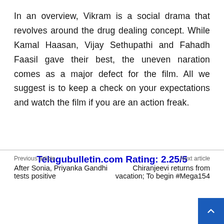In an overview, Vikram is a social drama that revolves around the drug dealing concept. While Kamal Haasan, Vijay Sethupathi and Fahadh Faasil gave their best, the uneven naration comes as a major defect for the film. All we suggest is to keep a check on your expectations and watch the film if you are an action freak.
Telugubulletin.com Rating: 2.25/5
Previous article
After Sonia, Priyanka Gandhi tests positive
Next article
Chiranjeevi returns from vacation; To begin #Mega154